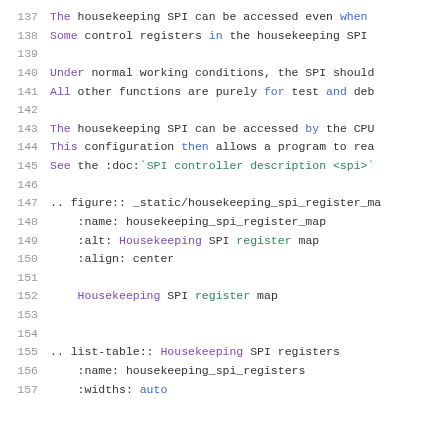137  The housekeeping SPI can be accessed even when ...
138  Some control registers in the housekeeping SPI ...
139  (blank)
140  Under normal working conditions, the SPI should...
141  All other functions are purely for test and deb...
142  (blank)
143  The housekeeping SPI can be accessed by the CPU...
144  This configuration then allows a program to rea...
145  See the :doc:`SPI controller description <spi>`...
146  (blank)
147  .. figure:: _static/housekeeping_spi_register_ma...
148      :name: housekeeping_spi_register_map
149      :alt: Housekeeping SPI register map
150      :align: center
151  (blank)
152      Housekeeping SPI register map
153  (blank)
154  (blank)
155  .. list-table:: Housekeeping SPI registers
156      :name: housekeeping_spi_registers
157      :widths: auto